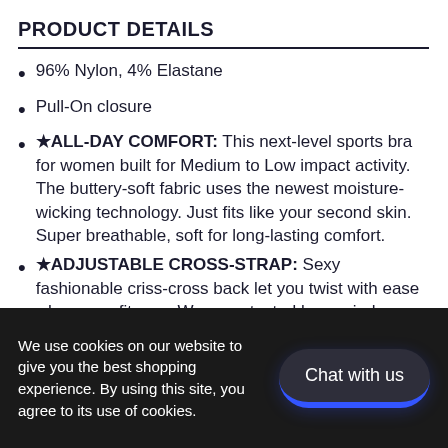PRODUCT DETAILS
96% Nylon, 4% Elastane
Pull-On closure
★ALL-DAY COMFORT: This next-level sports bra for women built for Medium to Low impact activity. The buttery-soft fabric uses the newest moisture-wicking technology. Just fits like your second skin. Super breathable, soft for long-lasting comfort.
★ADJUSTABLE CROSS-STRAP: Sexy fashionable criss-cross back let you twist with ease when your fitness. We wear-tested by our in-house team, verified the upgraded elastic band strap is strong and durable, effectively preventing this athletic bra from shifting when you wear and sweat. This next-level
We use cookies on our website to give you the best shopping experience. By using this site, you agree to its use of cookies.